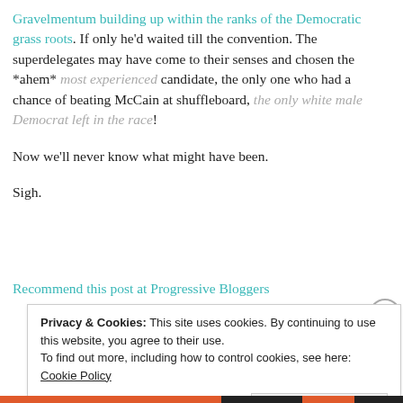Gravelmentum building up within the ranks of the Democratic grass roots. If only he'd waited till the convention. The superdelegates may have come to their senses and chosen the *ahem* most experienced candidate, the only one who had a chance of beating McCain at shuffleboard, the only white male Democrat left in the race!
Now we'll never know what might have been.
Sigh.
Recommend this post at Progressive Bloggers
Privacy & Cookies: This site uses cookies. By continuing to use this website, you agree to their use. To find out more, including how to control cookies, see here: Cookie Policy
Close and accept